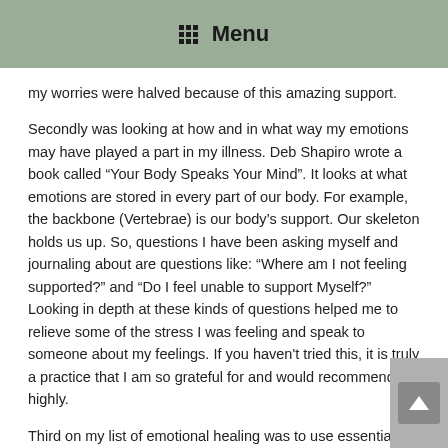Menu
my worries were halved because of this amazing support.
Secondly was looking at how and in what way my emotions may have played a part in my illness. Deb Shapiro wrote a book called “Your Body Speaks Your Mind”. It looks at what emotions are stored in every part of our body. For example, the backbone (Vertebrae) is our body’s support. Our skeleton holds us up. So, questions I have been asking myself and journaling about are questions like: “Where am I not feeling supported?” and “Do I feel unable to support Myself?” Looking in depth at these kinds of questions helped me to relieve some of the stress I was feeling and speak to someone about my feelings. If you haven't tried this, it is truly a practice that I am so grateful for and would recommend it highly.
Third on my list of emotional healing was to use essential oils to reduce my anger, high anxiety and stress levels. Using a diffuser throughout the house has been a great addition to my healing regimen. Having a wide variety to choose from has also helped me to intuitively work out which oil is best for me on any given